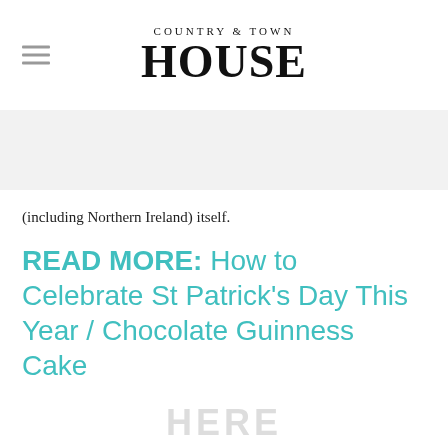COUNTRY & TOWN HOUSE
(including Northern Ireland) itself.
READ MORE: How to Celebrate St Patrick’s Day This Year / Chocolate Guinness Cake